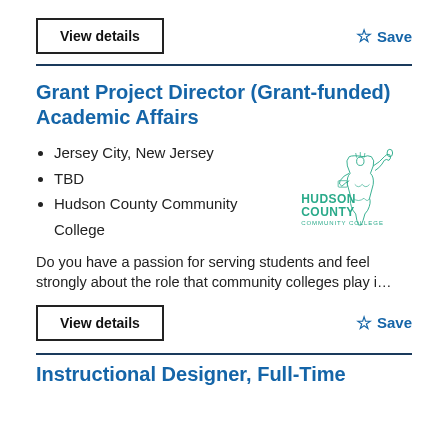View details
Save
Grant Project Director (Grant-funded) Academic Affairs
Jersey City, New Jersey
TBD
Hudson County Community College
[Figure (logo): Hudson County Community College logo with Statue of Liberty figure in teal/green]
Do you have a passion for serving students and feel strongly about the role that community colleges play i…
View details
Save
Instructional Designer, Full-Time